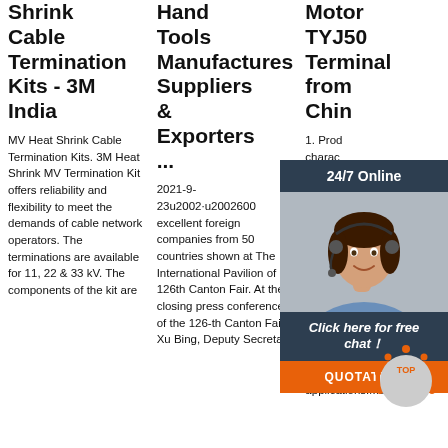Shrink Cable Termination Kits - 3M India
MV Heat Shrink Cable Termination Kits. 3M Heat Shrink MV Termination Kit offers reliability and flexibility to meet the demands of cable network operators. The terminations are available for 11, 22 & 33 kV. The components of the kit are
Hand Tools Manufacturers Suppliers & Exporters ...
2021-9-23u2002·u2002600 excellent foreign companies from 50 countries shown at The International Pavilion of 126th Canton Fair. At the closing press conference of the 126-th Canton Fair, Xu Bing, Deputy Secretary
Motor TYJ50 Terminal from Chin
1. Product characteristics: This product combines permanent magnet and gear reduction structure, advantages: compact in size, low-power, low noise level and large output torque. 2. major applications:Mainly
[Figure (photo): Customer service representative (woman with headset) shown in chat widget overlay with '24/7 Online' header, 'Click here for free chat!' call-to-action, and orange QUOTATION button]